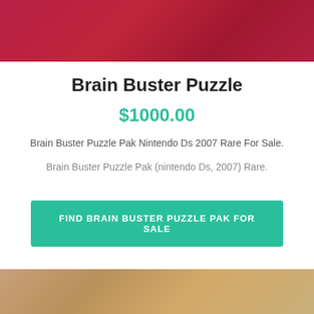[Figure (photo): Red/crimson fabric or background image at top of page]
Brain Buster Puzzle
$1000.00
Brain Buster Puzzle Pak Nintendo Ds 2007 Rare For Sale.
Brain Buster Puzzle Pak (nintendo Ds, 2007) Rare.
FIND BRAIN BUSTER PUZZLE PAK FOR SALE
[Figure (photo): Wooden surface background image at bottom of page]